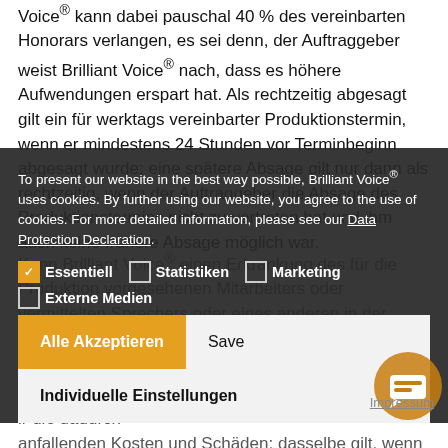Voice® kann dabei pauschal 40 % des vereinbarten Honorars verlangen, es sei denn, der Auftraggeber weist Brilliant Voice® nach, dass es höhere Aufwendungen erspart hat. Als rechtzeitig abgesagt gilt ein für werktags vereinbarter Produktionstermin, wenn er mindestens 24 Stunden vor Terminbeginn abgesagt wurde; eine spätere Absage gilt nur dann als rechtzeitig, wenn der Auftraggeber die Absage des Produktionstermins nicht zu vertreten hat und ihm auch keine frühere Absage möglich war.
To present our website in the best way possible, Brilliant Voice® uses cookies. By further using our website, you agree to the use of cookies. For more detailed information, please see our Data Protection Declaration.
Essentiell  Statistiken  Marketing  Externe Medien
Alle Akzeptieren  Save
Individuelle Einstellungen
Kann Brilliant Voice® einen Erkrankung des für die Produktion vorgesehenen Mitarbeiters oder vermittelten Sprechers oder eines anderen in der Person des vorgesehenen Mitarbeiters oder des vermittelten Sprechers, von diesen nicht ... des BGB analog... min nicht einha-... ir die dadurch anfallenden Kosten und Schäden; dasselbe gilt, wenn